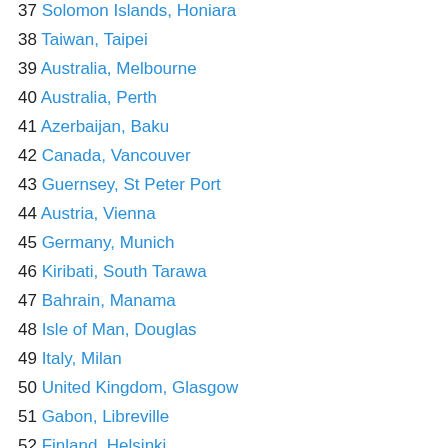37 Solomon Islands, Honiara
38 Taiwan, Taipei
39 Australia, Melbourne
40 Australia, Perth
41 Azerbaijan, Baku
42 Canada, Vancouver
43 Guernsey, St Peter Port
44 Austria, Vienna
45 Germany, Munich
46 Kiribati, South Tarawa
47 Bahrain, Manama
48 Isle of Man, Douglas
49 Italy, Milan
50 United Kingdom, Glasgow
51 Gabon, Libreville
52 Finland, Helsinki
53 Canada, Calgary